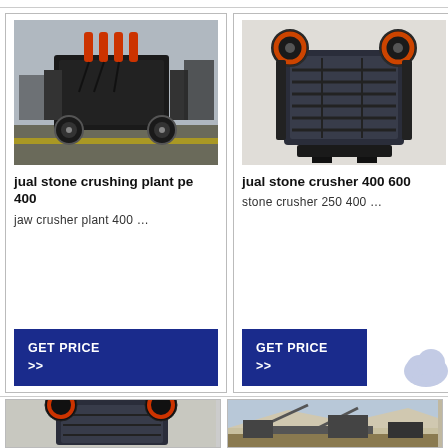[Figure (photo): Industrial jaw crusher plant PE 400 on wheels in a factory setting]
jual stone crushing plant pe 400
jaw crusher plant 400 …
GET PRICE >>
[Figure (photo): Jaw crusher 400 600 stone crusher machine, front view]
jual stone crusher 400 600
stone crusher 250 400 …
GET PRICE >>
[Figure (photo): Jaw crusher machine with red flywheel, bottom-left card]
[Figure (photo): Stone crushing plant in quarry setting, bottom-right card]